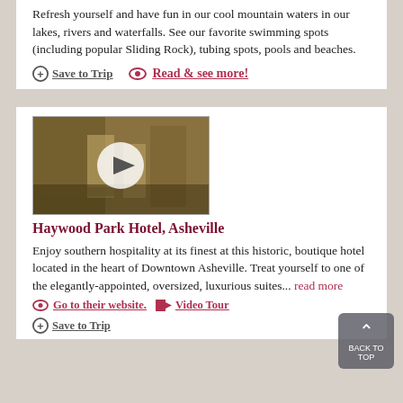Refresh yourself and have fun in our cool mountain waters in our lakes, rivers and waterfalls. See our favorite swimming spots (including popular Sliding Rock), tubing spots, pools and beaches.
Save to Trip   Read & see more!
[Figure (photo): Hotel lobby video thumbnail with play button overlay]
Haywood Park Hotel, Asheville
Enjoy southern hospitality at its finest at this historic, boutique hotel located in the heart of Downtown Asheville. Treat yourself to one of the elegantly-appointed, oversized, luxurious suites... read more
Go to their website.   Video Tour
Save to Trip